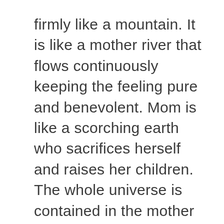firmly like a mountain. It is like a mother river that flows continuously keeping the feeling pure and benevolent. Mom is like a scorching earth who sacrifices herself and raises her children. The whole universe is contained in the mother because life cannot be imagined on this earth without her.